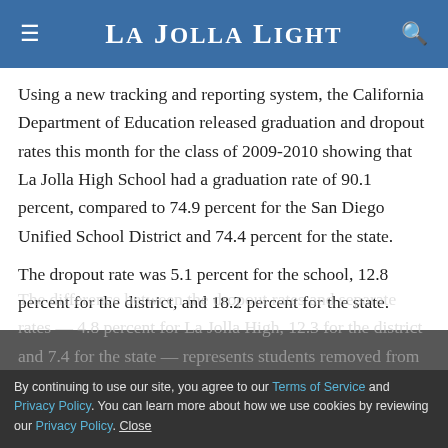La Jolla Light
Using a new tracking and reporting system, the California Department of Education released graduation and dropout rates this month for the class of 2009-2010 showing that La Jolla High School had a graduation rate of 90.1 percent, compared to 74.9 percent for the San Diego Unified School District and 74.4 percent for the state.
The dropout rate was 5.1 percent for the school, 12.8 percent for the district, and 18.2 percent for the state.
The difference between the dropout rates and separate rates — 4.8 percent for La Jolla High, 12.3 for the district and 7.4 for the state — represents students removed from
By continuing to use our site, you agree to our Terms of Service and Privacy Policy. You can learn more about how we use cookies by reviewing our Privacy Policy. Close